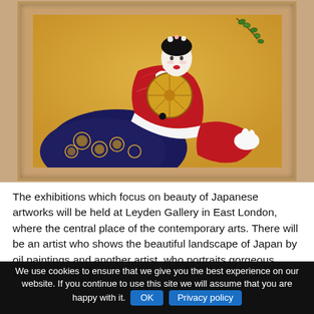[Figure (illustration): A framed Japanese painting depicting a beautiful woman (geisha) in an elaborate kimono with red and dark blue patterns, holding a fan, set against a golden background with floral decorations. The painting is presented in a tan/gold wooden frame with a mat border.]
The exhibitions which focus on beauty of Japanese artworks will be held at Leyden Gallery in East London, where the central place of the contemporary arts. There will be an artist who shows the beautiful landscape of Japan by oil paintings and another artist, who portraits gorgeous women in kimono from 7th and 10th Century of Japan by Oshie (traditional craft work of
We use cookies to ensure that we give you the best experience on our website. If you continue to use this site we will assume that you are happy with it. OK  Privacy policy